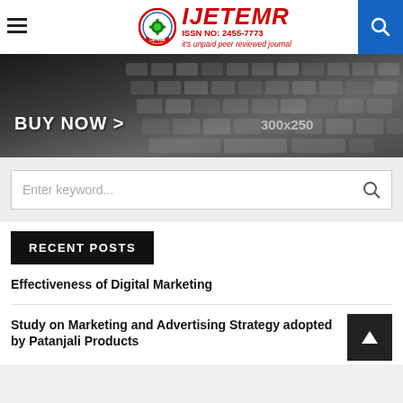IJETEMR ISSN NO: 2455-7773 it's unpaid peer reviewed journal
[Figure (photo): Laptop keyboard close-up with 'BUY NOW >' text and '300x250' label overlay on dark background]
Enter keyword...
RECENT POSTS
Effectiveness of Digital Marketing
Study on Marketing and Advertising Strategy adopted by Patanjali Products